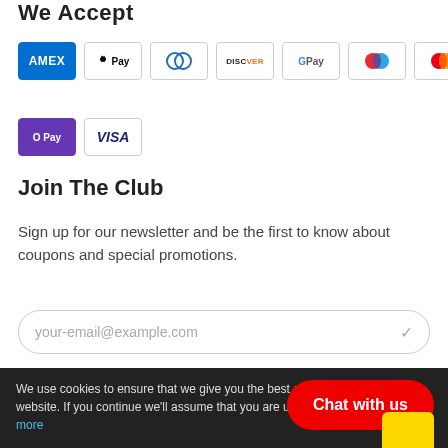We Accept
[Figure (logo): Payment method icons: AMEX, Apple Pay, Diners Club, Discover, Google Pay, Maestro, Mastercard, PayPal, O Pay, VISA]
Join The Club
Sign up for our newsletter and be the first to know about coupons and special promotions.
[Figure (other): Email input field with placeholder your-email@example.com and a checkmark icon]
[Figure (other): Social media icons: Twitter, Facebook, Instagram in circular outlines]
We use cookies to ensure that we give you the best experience on our website. If you continue we'll assume that you are understand this. Learn more
Chat with us